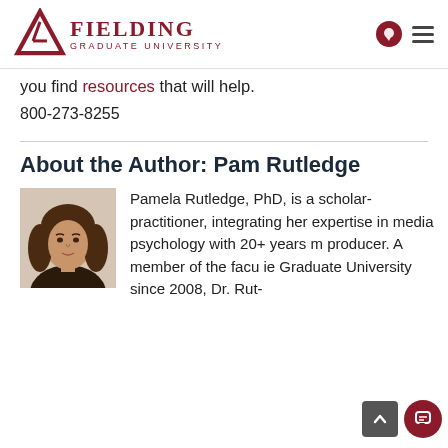[Figure (logo): Fielding Graduate University logo with triangle icon and university name in dark red]
you find resources that will help.
800-273-8255
About the Author: Pam Rutledge
[Figure (photo): Headshot of Pamela Rutledge, a woman with shoulder-length brown hair]
Pamela Rutledge, PhD, is a scholar-practitioner, integrating her expertise in media psychology with 20+ years m producer. A member of the facu ie Graduate University since 2008, Dr. Rut-